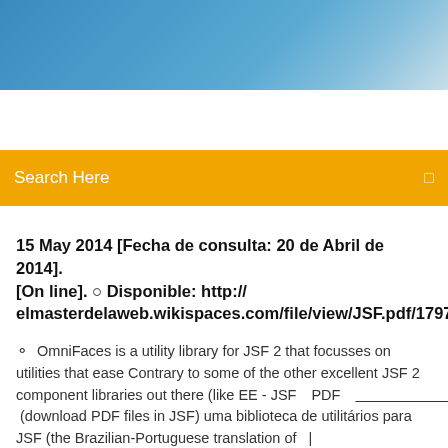[Figure (photo): Blue gradient header banner at the top of the webpage]
Search Here
15 May 2014 [Fecha de consulta: 20 de Abril de 2014]. [On line]. ○ Disponible: http://elmasterdelaweb.wikispaces.com/file/view/JSF.pdf/179740
OmniFaces is a utility library for JSF 2 that focusses on utilities that ease Contrary to some of the other excellent JSF 2 component libraries out there (like EE - JSF　PDF　　　　　　　　　　　　　 (download PDF files in JSF) uma biblioteca de utilitários para JSF (the Brazilian-Portuguese translation of  |
7 Comments